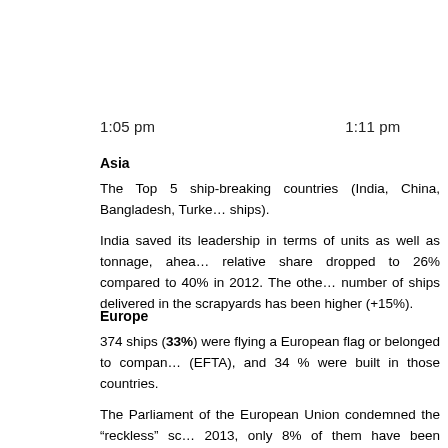1:05 pm    1:11 pm
Asia
The Top 5 ship-breaking countries (India, China, Bangladesh, Turkey... ships).
India saved its leadership in terms of units as well as tonnage, ahead... relative share dropped to 26% compared to 40% in 2012. The other... number of ships delivered in the scrapyards has been higher (+15%).
Europe
374 ships (33%) were flying a European flag or belonged to companies... (EFTA), and 34 % were built in those countries.
The Parliament of the European Union condemned the “reckless” sc... 2013, only 8% of them have been dismantled in Europe. One in five... voyage. The German ship-owners performed brilliantly the art of ca...